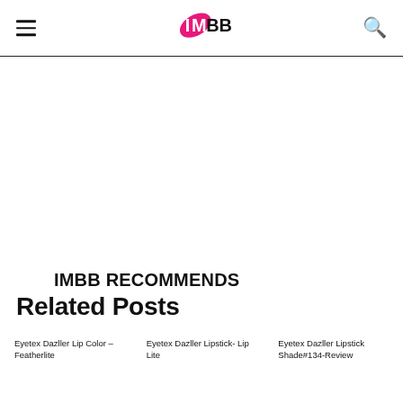IMBB logo, hamburger menu, search icon
IMBB RECOMMENDS
Related Posts
Eyetex Dazller Lip Color – Featherlite
Eyetex Dazller Lipstick- Lip Lite
Eyetex Dazller Lipstick Shade#134-Review